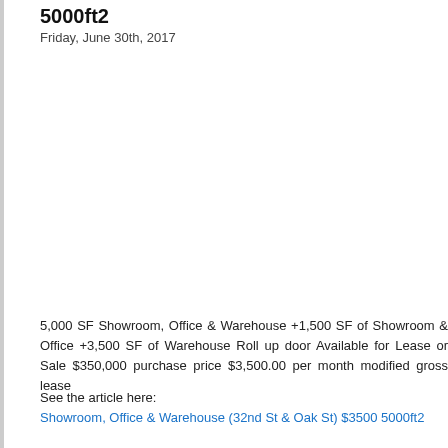5000ft2
Friday, June 30th, 2017
5,000 SF Showroom, Office & Warehouse +1,500 SF of Showroom & Office +3,500 SF of Warehouse Roll up door Available for Lease or Sale $350,000 purchase price $3,500.00 per month modified gross lease
See the article here:
Showroom, Office & Warehouse (32nd St & Oak St) $3500 5000ft2